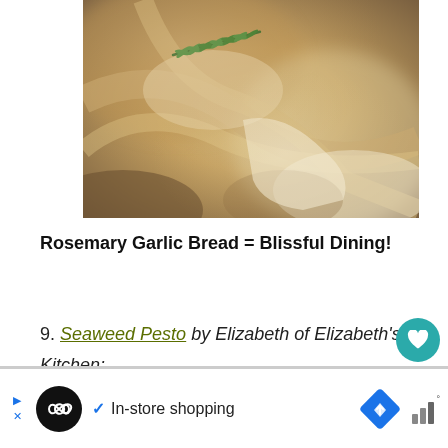[Figure (photo): Close-up photo of rosemary garlic bread dough with a sprig of rosemary on top, warm golden and creamy tones]
Rosemary Garlic Bread = Blissful Dining!
9. Seaweed Pesto by Elizabeth of Elizabeth's Kitchen:
In-store shopping